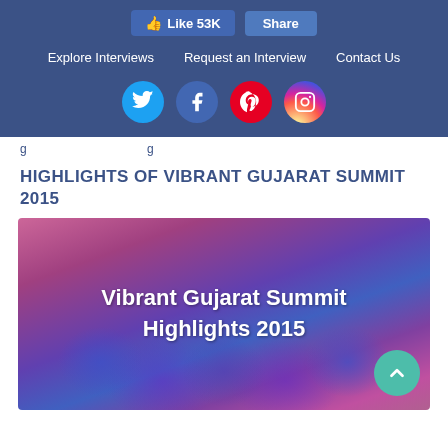Like 53K  Share  |  Explore Interviews  Request an Interview  Contact Us
g  g
HIGHLIGHTS OF VIBRANT GUJARAT SUMMIT 2015
[Figure (photo): Blurred event/stage photo with text overlay reading 'Vibrant Gujarat Summit Highlights 2015']